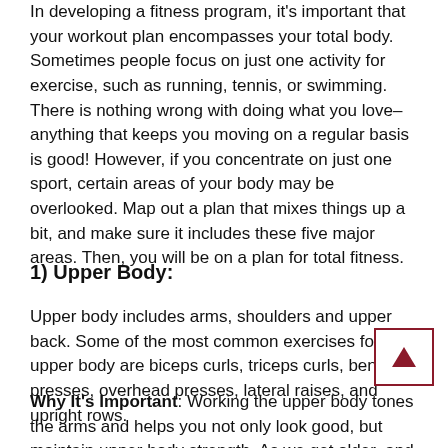In developing a fitness program, it's important that your workout plan encompasses your total body. Sometimes people focus on just one activity for exercise, such as running, tennis, or swimming. There is nothing wrong with doing what you love–anything that keeps you moving on a regular basis is good! However, if you concentrate on just one sport, certain areas of your body may be overlooked. Map out a plan that mixes things up a bit, and make sure it includes these five major areas. Then, you will be on a plan for total fitness.
1) Upper Body:
Upper body includes arms, shoulders and upper back. Some of the most common exercises for the upper body are biceps curls, triceps curls, bench presses, overhead presses, lateral raises, and upright rows.
Why It's Important: Working the upper body tones the arms and helps you not only look good, but maintain upper body strength. As we get older–and I'm talking even past age